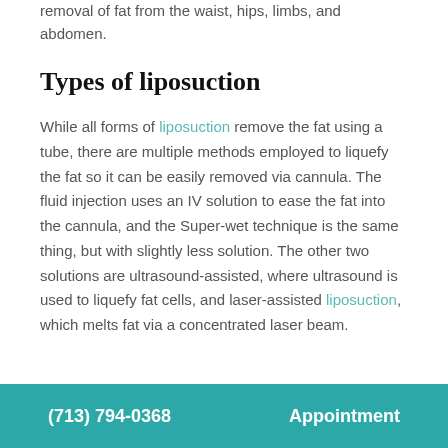removal of fat from the waist, hips, limbs, and abdomen.
Types of liposuction
While all forms of liposuction remove the fat using a tube, there are multiple methods employed to liquefy the fat so it can be easily removed via cannula. The fluid injection uses an IV solution to ease the fat into the cannula, and the Super-wet technique is the same thing, but with slightly less solution. The other two solutions are ultrasound-assisted, where ultrasound is used to liquefy fat cells, and laser-assisted liposuction, which melts fat via a concentrated laser beam.
(713) 794-0368    Appointment